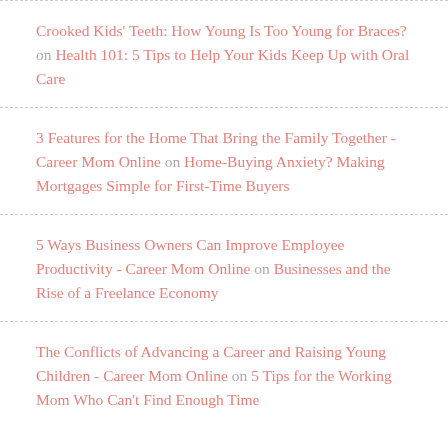Crooked Kids' Teeth: How Young Is Too Young for Braces? on Health 101: 5 Tips to Help Your Kids Keep Up with Oral Care
3 Features for the Home That Bring the Family Together - Career Mom Online on Home-Buying Anxiety? Making Mortgages Simple for First-Time Buyers
5 Ways Business Owners Can Improve Employee Productivity - Career Mom Online on Businesses and the Rise of a Freelance Economy
The Conflicts of Advancing a Career and Raising Young Children - Career Mom Online on 5 Tips for the Working Mom Who Can't Find Enough Time